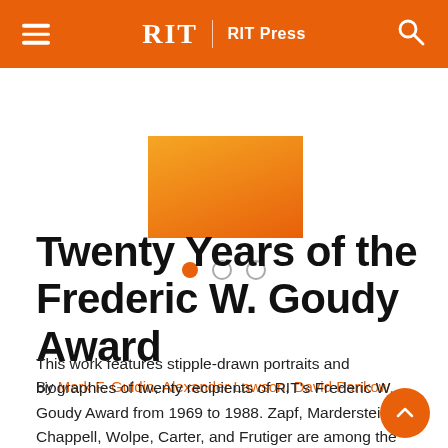RIT | RIT Press
[Figure (illustration): Orange/gradient rectangular image placeholder centered in a white band, with three navigation dots below (first dot filled orange, two dots outline grey).]
Twenty Years of the Frederic W. Goudy Award
By Mark F. Guldin, Alexander Lawson, David Pankow
This work features stipple-drawn portraits and biographies of twenty recipients of RIT’s Frederic W. Goudy Award from 1969 to 1988. Zapf, Mardersteig, Chappell, Wolpe, Carter, and Frutiger are among the designers, typographers, and historians honored in this book. Printed by offset lithography in black ink with